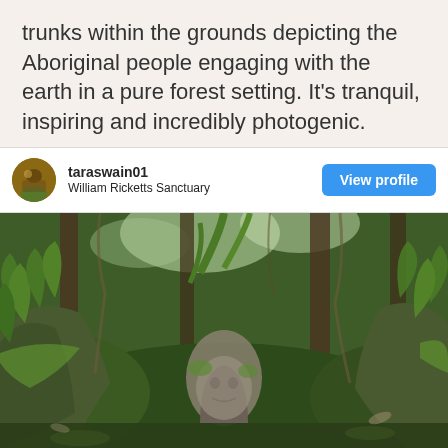trunks within the grounds depicting the Aboriginal people engaging with the earth in a pure forest setting. It's tranquil, inspiring and incredibly photogenic.
taraswain01
William Ricketts Sanctuary
View profile
[Figure (photo): Photograph of William Ricketts Sanctuary showing a lush forest with moss-covered rocks and a sculptural face carved into stone, surrounded by ferns and dense green vegetation.]